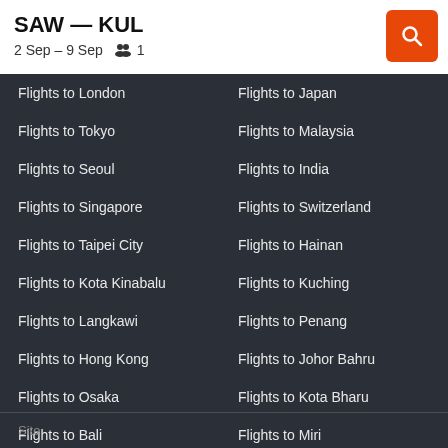SAW — KUL
2 Sep – 9 Sep   👥 1
Flights to London
Flights to Japan
Flights to Tokyo
Flights to Malaysia
Flights to Seoul
Flights to India
Flights to Singapore
Flights to Switzerland
Flights to Taipei City
Flights to Hainan
Flights to Kota Kinabalu
Flights to Kuching
Flights to Langkawi
Flights to Penang
Flights to Hong Kong
Flights to Johor Bahru
Flights to Osaka
Flights to Kota Bharu
Flights to Bali
Flights to Miri
Flights to Istanbul
Flights to Tawau
Flights to Paris
Site